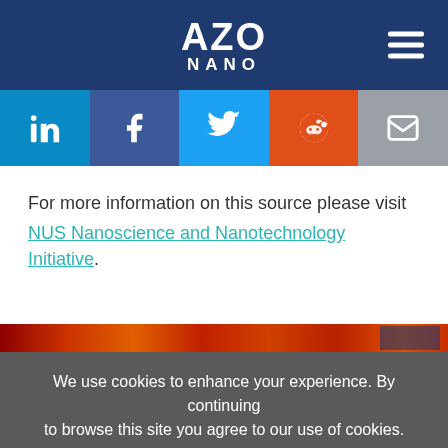AZO NANO
[Figure (infographic): Social media share buttons: LinkedIn, Facebook, Twitter, Reddit, Email]
For more information on this source please visit NUS Nanoscience and Nanotechnology Initiative.
[Figure (photo): Partial view of a scientific image with orange/red tones]
We use cookies to enhance your experience. By continuing to browse this site you agree to our use of cookies. More info. Accept | Cookie Settings